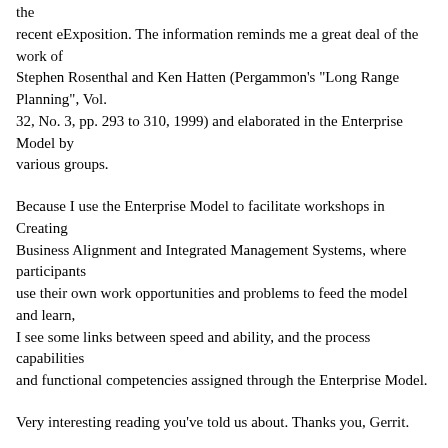the recent eExposition. The information reminds me a great deal of the work of Stephen Rosenthal and Ken Hatten (Pergammon's "Long Range Planning", Vol. 32, No. 3, pp. 293 to 310, 1999) and elaborated in the Enterprise Model by various groups.
Because I use the Enterprise Model to facilitate workshops in Creating Business Alignment and Integrated Management Systems, where participants use their own work opportunities and problems to feed the model and learn, I see some links between speed and ability, and the process capabilities and functional competencies assigned through the Enterprise Model.
Very interesting reading you've told us about. Thanks you, Gerrit.
Best regards,
Barry Mallis